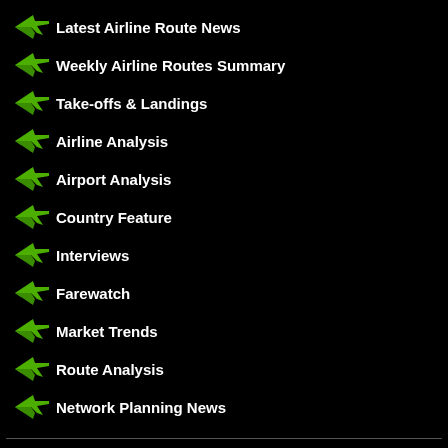Latest Airline Route News
Weekly Airline Routes Summary
Take-offs & Landings
Airline Analysis
Airport Analysis
Country Feature
Interviews
Farewatch
Market Trends
Route Analysis
Network Planning News
© 2007-2022 - ANNA.AERO & THE ROUTE SHOP ARE BROUGHT TO YOU BY PPS PUBLICATIONS